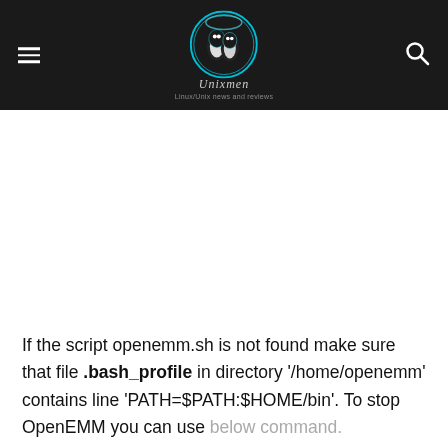Unixmen - Linux/Unix news and reviews
If the script openemm.sh is not found make sure that file .bash_profile in directory '/home/openemm' contains line 'PATH=$PATH:$HOME/bin'. To stop OpenEMM you can use below command.